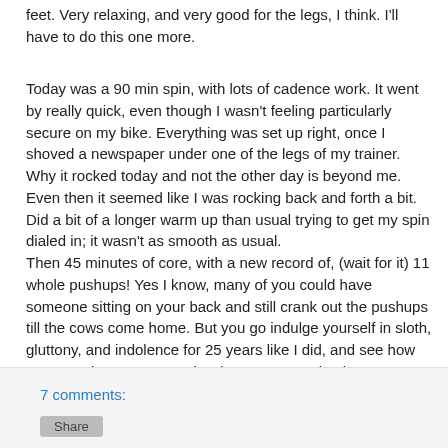feet. Very relaxing, and very good for the legs, I think. I'll have to do this one more.
Today was a 90 min spin, with lots of cadence work. It went by really quick, even though I wasn't feeling particularly secure on my bike. Everything was set up right, once I shoved a newspaper under one of the legs of my trainer. Why it rocked today and not the other day is beyond me. Even then it seemed like I was rocking back and forth a bit. Did a bit of a longer warm up than usual trying to get my spin dialed in; it wasn't as smooth as usual.
Then 45 minutes of core, with a new record of, (wait for it) 11 whole pushups! Yes I know, many of you could have someone sitting on your back and still crank out the pushups till the cows come home. But you go indulge yourself in sloth, gluttony, and indolence for 25 years like I did, and see how many push ups you can do when you come back.
7 comments: